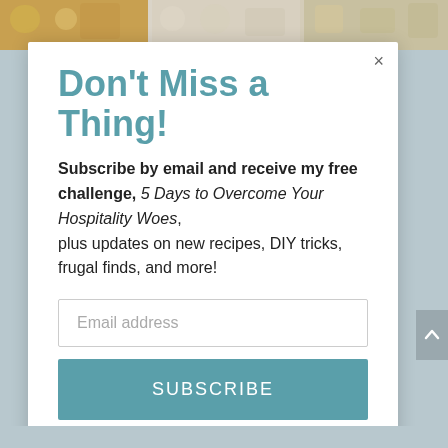[Figure (photo): Top image strip showing food photos - pasta, rice dishes]
Don't Miss a Thing!
Subscribe by email and receive my free challenge, 5 Days to Overcome Your Hospitality Woes, plus updates on new recipes, DIY tricks, frugal finds, and more!
Email address
SUBSCRIBE